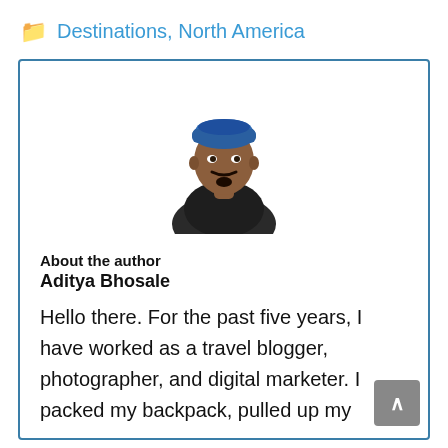Destinations, North America
[Figure (photo): Portrait photo of a young man wearing a blue head covering and dark jacket, with a mustache and goatee]
About the author
Aditya Bhosale
Hello there. For the past five years, I have worked as a travel blogger, photographer, and digital marketer. I packed my backpack, pulled up my